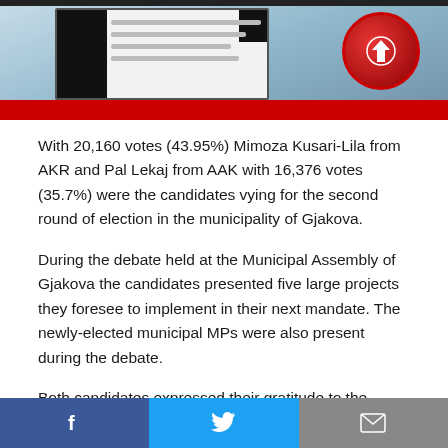[Figure (photo): Top image showing a screen/tablet with text and a red circular logo with a map icon on a blue sky background, with a red strip at the bottom]
With 20,160 votes (43.95%) Mimoza Kusari-Lila from AKR and Pal Lekaj from AAK with 16,376 votes (35.7%) were the candidates vying for the second round of election in the municipality of Gjakova.
During the debate held at the Municipal Assembly of Gjakova the candidates presented five large projects they foresee to implement in their next mandate. The newly-elected municipal MPs were also present during the debate.
Both candidates expressed their gratitude to the citizens
[Figure (infographic): Bottom social share bar with Facebook, Twitter, and email icons]